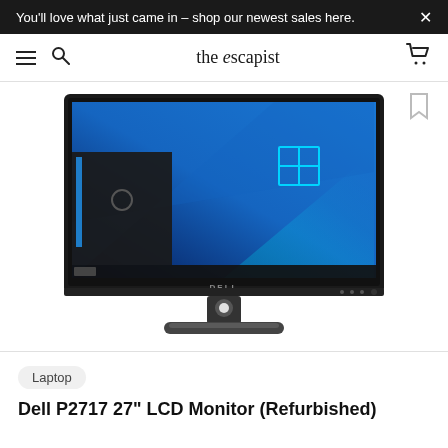You'll love what just came in – shop our newest sales here.
[Figure (logo): The Escapist website logo with hamburger menu, search icon, and cart icon navigation bar]
[Figure (photo): Dell P2717 27-inch LCD monitor displaying Windows 10 desktop wallpaper with blue light beams, shown on a stand. DELL branding visible on the bottom bezel.]
Laptop
Dell P2717 27" LCD Monitor (Refurbished)